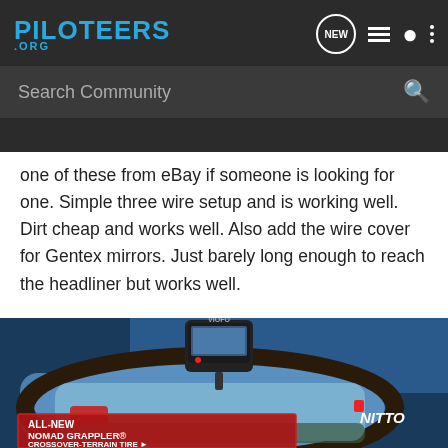PILOTEERS .ORG — navigation bar with NEW chat, list, user, and menu icons, and Search Community search bar
one of these from eBay if someone is looking for one. Simple three wire setup and is working well. Dirt cheap and works well. Also add the wire cover for Gentex mirrors. Just barely long enough to reach the headliner but works well.
[Figure (photo): Dashboard camera (VIOFO branded) mounted on a rearview mirror inside a vehicle. The mirror reflects the rear scene. An advertisement overlay at the bottom reads ALL-NEW NOMAD GRAPPLER CROSSOVER-TERRAIN TIRE with a red background and the NITTO brand name in white italics.]